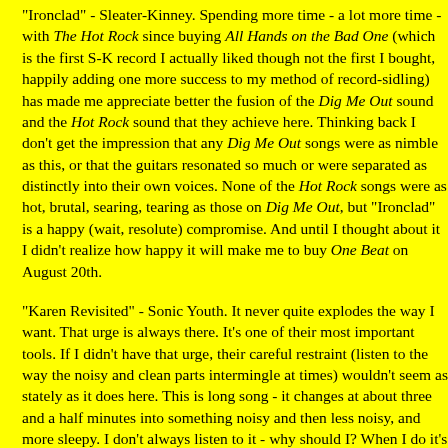"Ironclad" - Sleater-Kinney. Spending more time - a lot more time - with The Hot Rock since buying All Hands on the Bad One (which is the first S-K record I actually liked though not the first I bought, happily adding one more success to my method of record-sidling) has made me appreciate better the fusion of the Dig Me Out sound and the Hot Rock sound that they achieve here. Thinking back I don't get the impression that any Dig Me Out songs were as nimble as this, or that the guitars resonated so much or were separated as distinctly into their own voices. None of the Hot Rock songs were as hot, brutal, searing, tearing as those on Dig Me Out, but "Ironclad" is a happy (wait, resolute) compromise. And until I thought about it I didn't realize how happy it will make me to buy One Beat on August 20th.
"Karen Revisited" - Sonic Youth. It never quite explodes the way I want. That urge is always there. It's one of their most important tools. If I didn't have that urge, their careful restraint (listen to the way the noisy and clean parts intermingle at times) wouldn't seem as stately as it does here. This is long song - it changes at about three and a half minutes into something noisy and then less noisy, and more sleepy. I don't always listen to it - why should I? When I do it's often while doing something else. Those times, the applause at the end pleases me with the way it seems to have come out of nowhere. Other times, being in bed, in the dark as music plays, and it is...